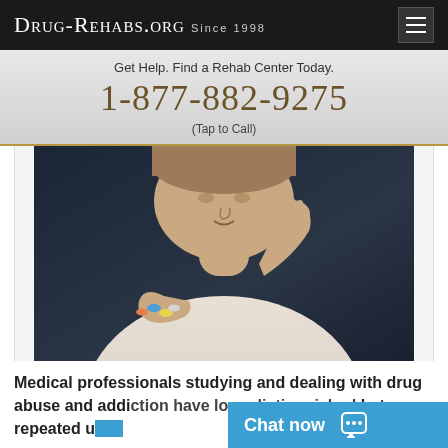Drug-Rehabs.org Since 1998
Get Help. Find a Rehab Center Today.
1-877-882-9275
(Tap to Call)
[Figure (photo): A woman in a white shirt holding pills in her hands, appearing distressed, photographed in a dark setting.]
Medical professionals studying and dealing with drug abuse and addiction have long distinguished between repeated u...
Chat now